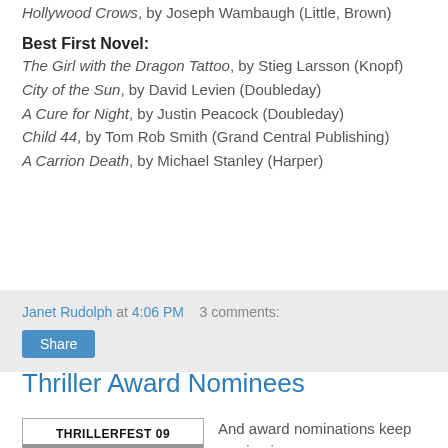Hollywood Crows, by Joseph Wambaugh (Little, Brown)
Best First Novel:
The Girl with the Dragon Tattoo, by Stieg Larsson (Knopf)
City of the Sun, by David Levien (Doubleday)
A Cure for Night, by Justin Peacock (Doubleday)
Child 44, by Tom Rob Smith (Grand Central Publishing)
A Carrion Death, by Michael Stanley (Harper)
Janet Rudolph at 4:06 PM   3 comments:
Share
Thriller Award Nominees
[Figure (photo): Photo showing THRILLERFEST 09 event with crowd]
And award nominations keep coming in...